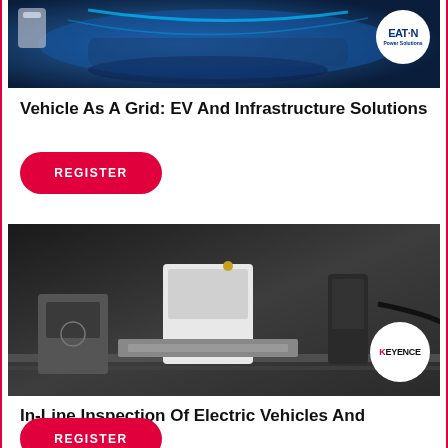[Figure (photo): EV and infrastructure product photo with Eaton logo badge in top-right corner, showing electric vehicle charging/power components with blue lighting]
Vehicle As A Grid: EV And Infrastructure Solutions
REGISTER
[Figure (photo): In-line inspection equipment photo showing precision measurement hardware with Keyence logo badge in bottom-right corner]
In-Line Inspection Of Electric Vehicles And Components
REGISTER